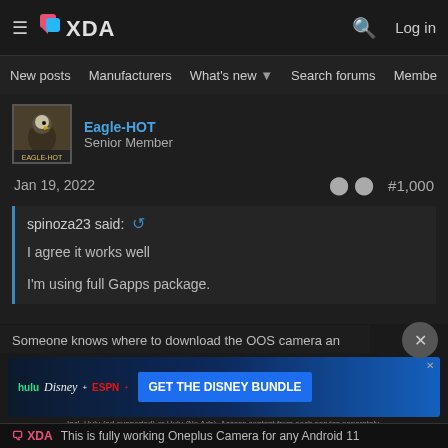XDA Forums — New posts | Manufacturers | What's new | Search forums | Members
Eagle-HOT
Senior Member
Jan 19, 2022  #1,000
spinoza23 said:
I agree it works well

I'm using full Gapps package.
Someone knows where to download the OOS camera an gallery apks???
[Figure (screenshot): Disney Bundle advertisement banner: hulu | Disney+ | ESPN+ — GET THE DISNEY BUNDLE. Incl. Hulu (ad-supported) or Hulu (No Ads). Access content from each service separately. ©2021 Disney and its related entities]
This is fully working Oneplus Camera for any Android 11